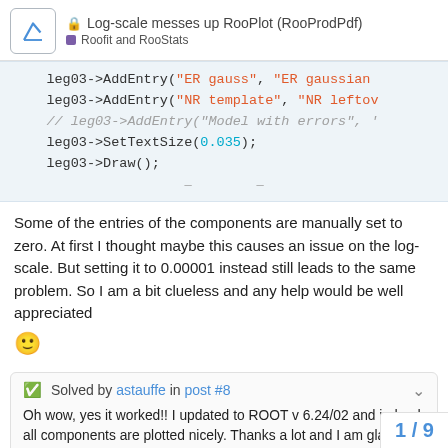Log-scale messes up RooPlot (RooProdPdf) — Roofit and RooStats
[Figure (screenshot): Code block showing C++ ROOT framework code with leg03->AddEntry, leg03->SetTextSize, leg03->Draw() calls]
Some of the entries of the components are manually set to zero. At first I thought maybe this causes an issue on the log-scale. But setting it to 0.00001 instead still leads to the same problem. So I am a bit clueless and any help would be well appreciated 🙂
✅ Solved by astauffe in post #8
Oh wow, yes it worked!! I updated to ROOT v 6.24/02 and indeed all components are plotted nicely. Thanks a lot and I am glad that the update did the trick. PS: I think the black line through the y-labels that @couet h... of the call to "SetLeftMargin()". Someho
1 / 9